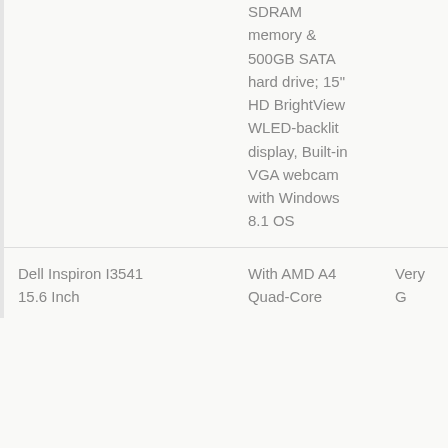|  | SDRAM memory & 500GB SATA hard drive; 15" HD BrightView WLED-backlit display, Built-in VGA webcam with Windows 8.1 OS |  |
| Dell Inspiron I3541 15.6 Inch | With AMD A4 Quad-Core | Very G |